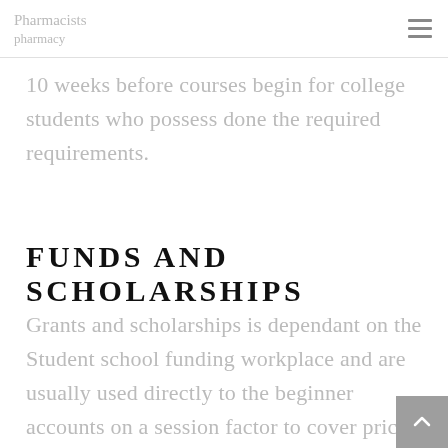Pharmacists
10 weeks before courses begin for college students who possess done the required requirements.
FUNDS AND SCHOLARSHIPS
Grants and scholarships is dependant on the Student school funding workplace and are usually used directly to the beginner accounts on a session factor to cover prices for tuition, charges and on-campus place and panel (if